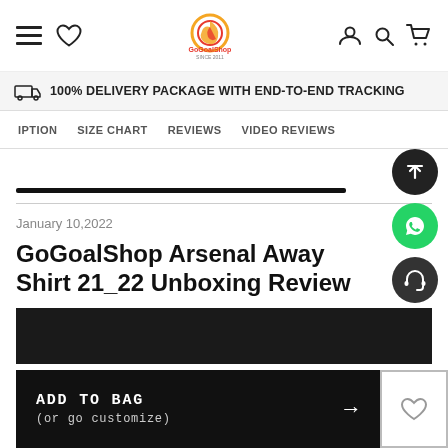GoGoalShop — hamburger, heart, logo, user, search, cart icons
🚚 100% DELIVERY PACKAGE WITH END-TO-END TRACKING
IPTION | SIZE CHART | REVIEWS | VIDEO REVIEWS
January 10,2022
GoGoalShop Arsenal Away Shirt 21_22 Unboxing Review
ADD TO BAG (or go customize) →